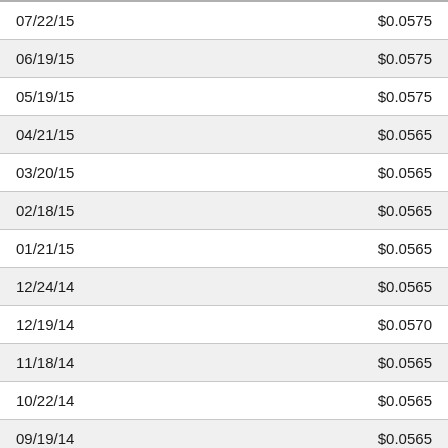| 07/22/15 | $0.0575 |
| 06/19/15 | $0.0575 |
| 05/19/15 | $0.0575 |
| 04/21/15 | $0.0565 |
| 03/20/15 | $0.0565 |
| 02/18/15 | $0.0565 |
| 01/21/15 | $0.0565 |
| 12/24/14 | $0.0565 |
| 12/19/14 | $0.0570 |
| 11/18/14 | $0.0565 |
| 10/22/14 | $0.0565 |
| 09/19/14 | $0.0565 |
| 08/20/14 | $0.0565 |
| 07/22/14 | $0.0565 |
| 06/19/14 | $0.0565 |
| 05/20/14 | $0.0565 |